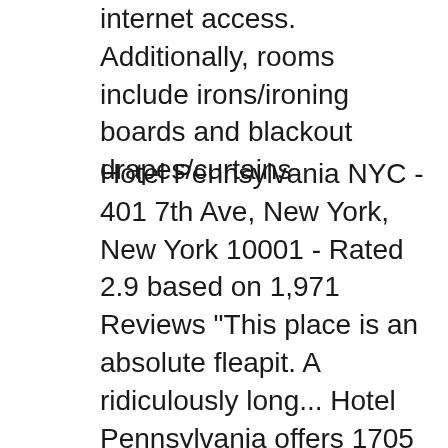internet access. Additionally, rooms include irons/ironing boards and blackout drapes/curtains
Hotel Pennsylvania NYC - 401 7th Ave, New York, New York 10001 - Rated 2.9 based on 1,971 Reviews "This place is an absolute fleapit. A ridiculously long... Hotel Pennsylvania offers 1705 forms of air-conditioned accommodation with a safe and a hairdryer. Premium cable televisions are provided. Bathrooms include a combined bath/shower unit and complimentary toiletries. This New York hotel provides complimentary wireless Internet access. Additionally, rooms include an iron/ironing board and blackout